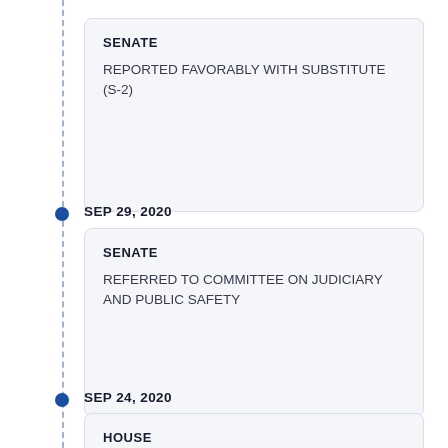SENATE
REPORTED FAVORABLY WITH SUBSTITUTE (S-2)
SEP 29, 2020
SENATE
REFERRED TO COMMITTEE ON JUDICIARY AND PUBLIC SAFETY
SEP 24, 2020
HOUSE